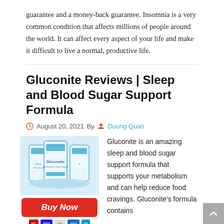guarantee and a money-back guarantee. Insomnia is a very common condition that affects millions of people around the world. It can affect every aspect of your life and make it difficult to live a normal, productive life.
Gluconite Reviews | Sleep and Blood Sugar Support Formula
August 20, 2021 By Duong Quan
[Figure (photo): Product image of Gluconite supplement containers with a red Buy Now button and payment icons below]
Gluconite is an amazing sleep and blood sugar support formula that supports your metabolism and can help reduce food cravings. Gluconite's formula contains